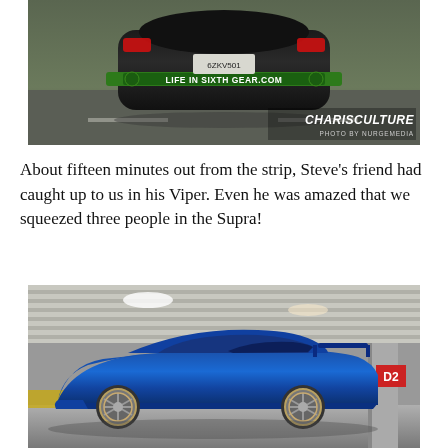[Figure (photo): Rear view of a green sports car (Dodge Viper) on a highway with a 'LIFE IN SIXTH GEAR.COM' decal on the rear spoiler. License plate reads 6ZKV501. Watermark: CHARISCULTURE, PHOTO BY NURGEMEDIA.]
About fifteen minutes out from the strip, Steve's friend had caught up to us in his Viper. Even he was amazed that we squeezed three people in the Supra!
[Figure (photo): Side profile of a blue Toyota Supra parked in a parking garage, low stance with gold wheels. Parking structure column and 'D2' sign visible in background.]